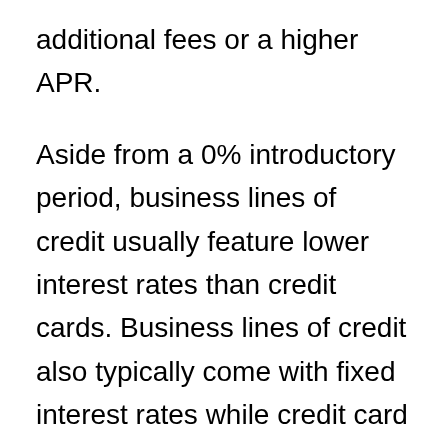additional fees or a higher APR.
Aside from a 0% introductory period, business lines of credit usually feature lower interest rates than credit cards. Business lines of credit also typically come with fixed interest rates while credit card interest rates are variable, and can change according to market conditions.
However, business credit cards come